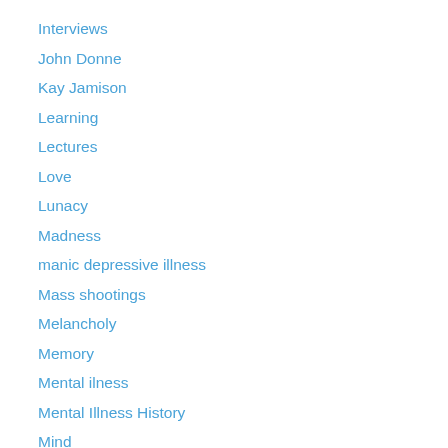Interviews
John Donne
Kay Jamison
Learning
Lectures
Love
Lunacy
Madness
manic depressive illness
Mass shootings
Melancholy
Memory
Mental ilness
Mental Illness History
Mind
Mind Modernity Madness
Mind/body problem
Modernity
Nationalism
Nationalism: A Short History